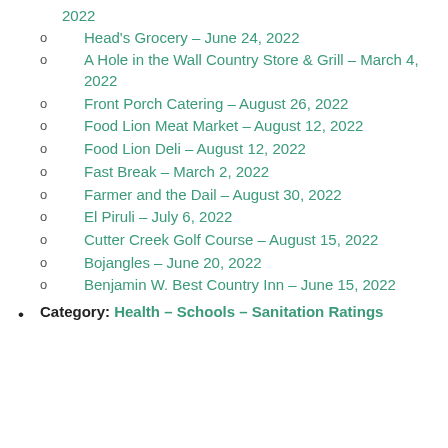Head's Grocery – June 24, 2022
A Hole in the Wall Country Store & Grill – March 4, 2022
Front Porch Catering – August 26, 2022
Food Lion Meat Market – August 12, 2022
Food Lion Deli – August 12, 2022
Fast Break – March 2, 2022
Farmer and the Dail – August 30, 2022
El Piruli – July 6, 2022
Cutter Creek Golf Course – August 15, 2022
Bojangles – June 20, 2022
Benjamin W. Best Country Inn – June 15, 2022
Category: Health – Schools – Sanitation Ratings